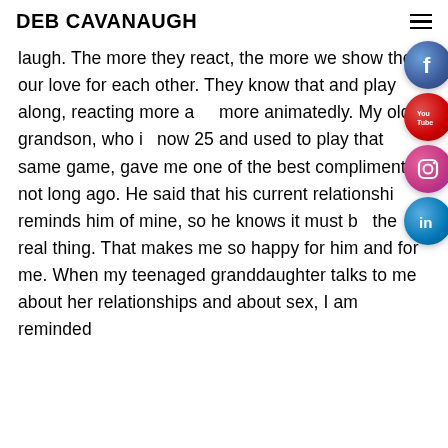DEB CAVANAUGH
laugh. The more they react, the more we show them our love for each other. They know that and play along, reacting more and more animatedly. My older grandson, who is now 25 and used to play that same game, gave me one of the best compliments not long ago. He said that his current relationship reminds him of mine, so he knows it must be the real thing. That makes me so happy for him and for me. When my teenaged granddaughter talks to me about her relationships and about sex, I am reminded